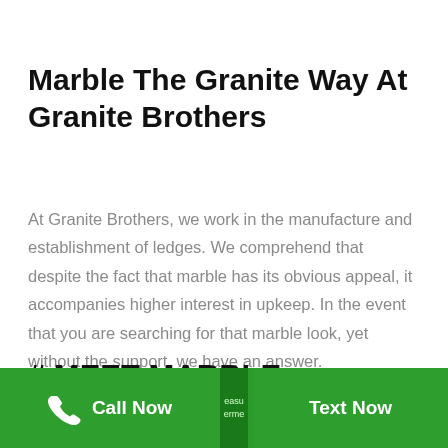Marble The Granite Way At Granite Brothers
At Granite Brothers, we work in the manufacture and establishment of ledges. We comprehend that despite the fact that marble has its obvious appeal, it accompanies higher interest in upkeep. In the event that you are searching for that marble look, yet without the support, we have an answer.
# MEET MARBLE
Call Now   Text Now